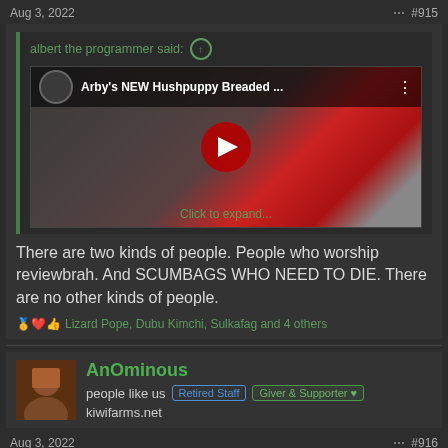Aug 3, 2022  #915
albert the programmer said: ↑
[Figure (screenshot): YouTube video thumbnail for 'Arby's NEW Hushpuppy Breaded ...' with play button overlay and 'Click to expand...' text]
There are two kinds of people. People who worship reviewbrah. And SCUMBAGS WHO NEED TO DIE. There are no other kinds of people.
🥇❤️👍 Lizard Pope, Dubu Kimchi, Sulkafag and 4 others
AnOminous
people like us  [Retired Staff]  [Giver & Supporter ♥]  kiwifarms.net
Aug 3, 2022  #916